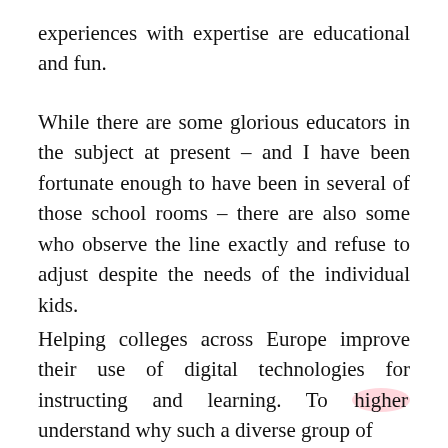experiences with expertise are educational and fun.
While there are some glorious educators in the subject at present – and I have been fortunate enough to have been in several of those school rooms – there are also some who observe the line exactly and refuse to adjust despite the needs of the individual kids.
Helping colleges across Europe improve their use of digital technologies for instructing and learning. To higher understand why such a diverse group of